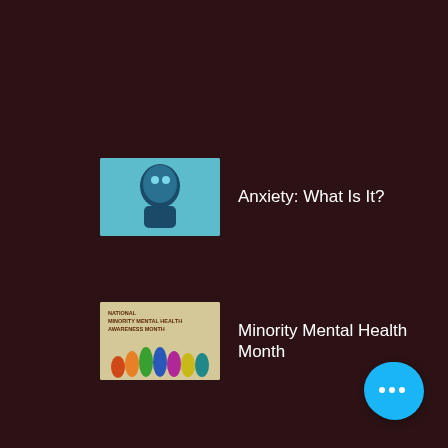Anxiety: What Is It?
Minority Mental Health Month
Self-Care 101: It's Not Selfish
Exercise and Mental Health
[Figure (screenshot): Mobile app screenshot showing a list of mental health article links with thumbnail images on a dark maroon background. Items include: Anxiety: What Is It?, Minority Mental Health Month, Self-Care 101: It's Not Selfish, Exercise and Mental Health. A blue FAB button with three dots is in the bottom right corner.]